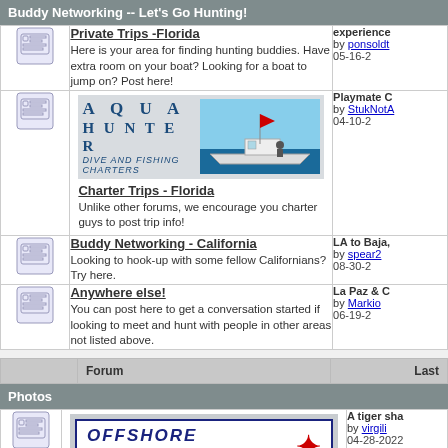Buddy Networking -- Let's Go Hunting!
|  | Forum | Last |
| --- | --- | --- |
| [icon] | Private Trips -Florida
Here is your area for finding hunting buddies. Have extra room on your boat? Looking for a boat to jump on? Post here! | experience
by ponsoldт
05-16-2 |
| [icon] | Charter Trips - Florida
Unlike other forums, we encourage you charter guys to post trip info! | Playmate C
by StukNotA
04-10-2 |
| [icon] | Buddy Networking - California
Looking to hook-up with some fellow Californians? Try here. | LA to Baja,
by spear2
08-30-2 |
| [icon] | Anywhere else!
You can post here to get a conversation started if looking to meet and hunt with people in other areas not listed above. | La Paz & C
by Markio
06-19-2 |
|  | Forum | Last |
| --- | --- | --- |
Photos
[Figure (logo): Offshore Hunter logo banner with star graphic and 'Offshore Hunter Software - Click Here' text]
Spearfishing Photos (1 Viewing)
A tiger sha
by virgili
04-28-2022